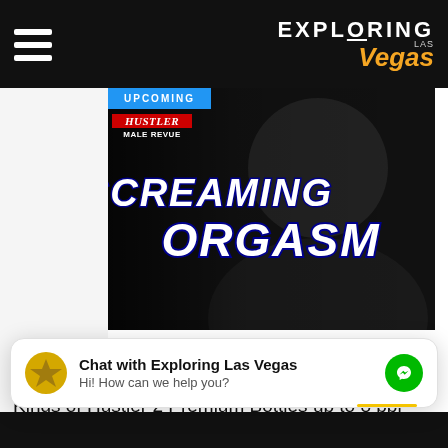EXPLORING Las Vegas
[Figure (photo): Promotional image for 'Screaming Orgasm' show at Hustler Male Revue. Black and white photo of a man in a hoodie with finger over lips (shushing gesture). Text overlay reads 'SCREAMING ORGASM' in large bold navy letters. Blue 'UPCOMING' badge in top left corner. Hustler Male Revue logo visible.]
Next Date: Sep 2
+ More Dates
Kings of Hustler 2 Premium Bottles up to 8 ppl (Screaming Orgasm)
Chat with Exploring Las Vegas
Hi! How can we help you?